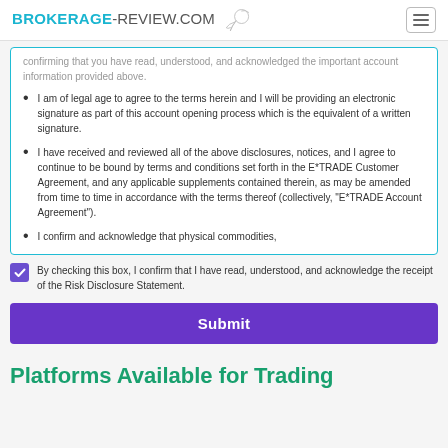BROKERAGE-REVIEW.COM
confirming that you have read, understood, and acknowledged the important account information provided above.
I am of legal age to agree to the terms herein and I will be providing an electronic signature as part of this account opening process which is the equivalent of a written signature.
I have received and reviewed all of the above disclosures, notices, and I agree to continue to be bound by terms and conditions set forth in the E*TRADE Customer Agreement, and any applicable supplements contained therein, as may be amended from time to time in accordance with the terms thereof (collectively, "E*TRADE Account Agreement").
I confirm and acknowledge that physical commodities,
By checking this box, I confirm that I have read, understood, and acknowledge the receipt of the Risk Disclosure Statement.
Submit
Platforms Available for Trading